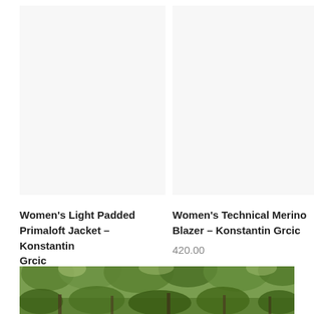[Figure (photo): Product image placeholder for Women's Light Padded Primaloft Jacket – light gray background]
[Figure (photo): Product image placeholder for Women's Technical Merino Blazer – light gray background]
Women's Light Padded Primaloft Jacket – Konstantin Grcic
360.00
Women's Technical Merino Blazer – Konstantin Grcic
420.00
[Figure (photo): Bottom portion of an outdoor photo showing trees with green foliage]